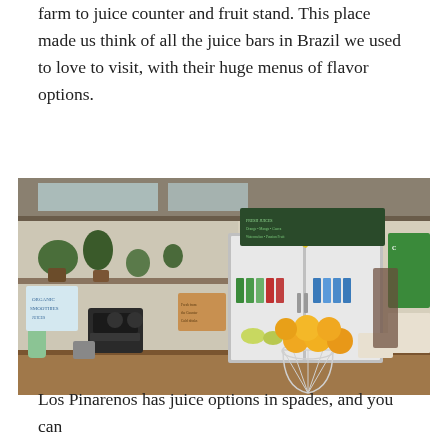farm to juice counter and fruit stand. This place made us think of all the juice bars in Brazil we used to love to visit, with their huge menus of flavor options.
[Figure (photo): Interior of a juice bar with a wooden counter in the foreground, an espresso machine on the left, a large glass-door refrigerator stocked with drinks in the background, bananas hanging above the fridge, a bowl of oranges/grapefruits on the counter, and various signs and items on the walls.]
Los Pinarenos has juice options in spades, and you can